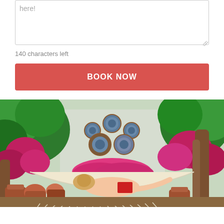here!
140 characters left
BOOK NOW
[Figure (photo): A person relaxing in a white fringed hammock on a flower-filled terrace, surrounded by lush green plants and pink bougainvillea, with decorative ceramic plates mounted on a light-colored wall in the background.]